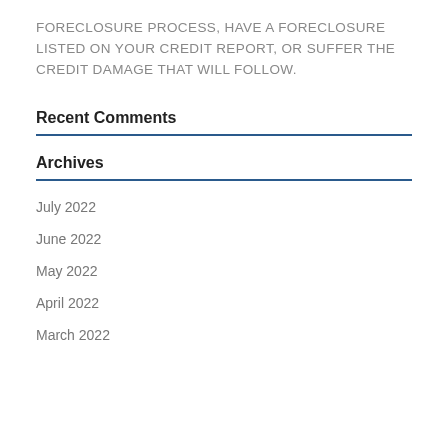FORECLOSURE PROCESS, HAVE A FORECLOSURE LISTED ON YOUR CREDIT REPORT, OR SUFFER THE CREDIT DAMAGE THAT WILL FOLLOW.
Recent Comments
Archives
July 2022
June 2022
May 2022
April 2022
March 2022